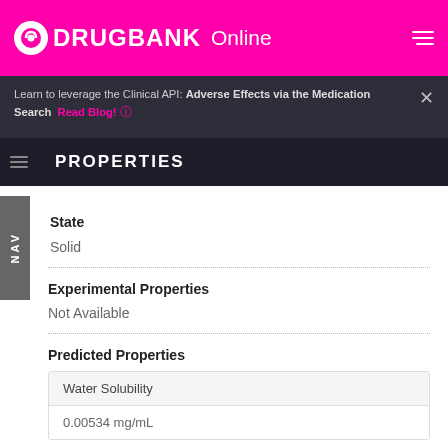DRUGBANK Online
Learn to leverage the Clinical API: Adverse Effects via the Medication Search Read Blog!
PROPERTIES
State
Solid
Experimental Properties
Not Available
Predicted Properties
| Water Solubility |
| --- |
| 0.00534 mg/mL |